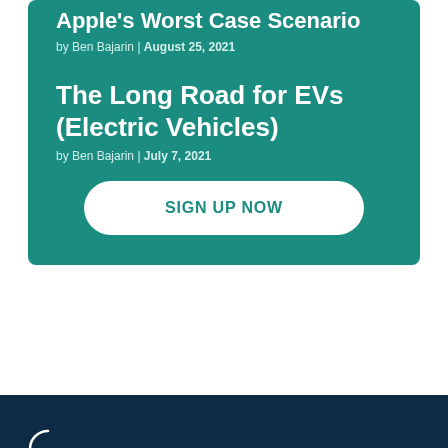Apple's Worst Case Scenario
by Ben Bajarin | August 25, 2021
The Long Road for EVs (Electric Vehicles)
by Ben Bajarin | July 7, 2021
SIGN UP NOW
[Figure (logo): Partial circular logo icon visible at bottom left of dark navy footer]